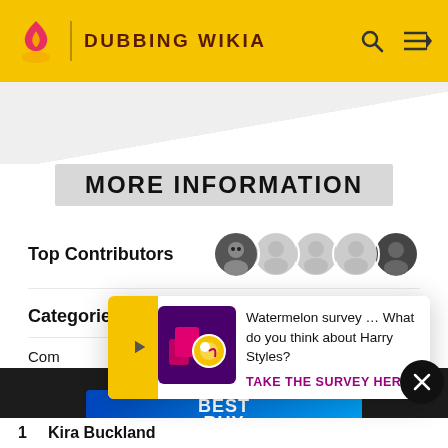DUBBING WIKIA
MORE INFORMATION
Top Contributors
Categories
Watermelon survey … What do you think about Harry Styles? TAKE THE SURVEY HERE
MORE DUBBING WIKIA
[Figure (logo): Best Buy advertisement banner with blue gradient background and white Best Buy logo]
1  Kira Buckland